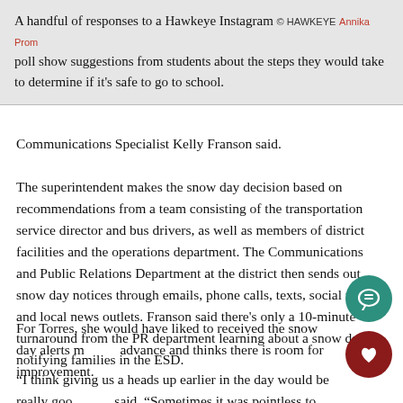A handful of responses to a Hawkeye Instagram poll show suggestions from students about the steps they would take to determine if it's safe to go to school. © HAWKEYE Annika Prom
Communications Specialist Kelly Franson said.
The superintendent makes the snow day decision based on recommendations from a team consisting of the transportation service director and bus drivers, as well as members of district facilities and the operations department. The Communications and Public Relations Department at the district then sends out snow day notices through emails, phone calls, texts, social media and local news outlets. Franson said there's only a 10-minute turnaround from the PR department learning about a snow day to notifying families in the ESD.
For Torres, she would have liked to received the snow day alerts more in advance and thinks there is room for improvement.
“I think giving us a heads up earlier in the day would be really good,” said. “Sometimes it was pointless to call a half day [when] we could just be home schooled.”